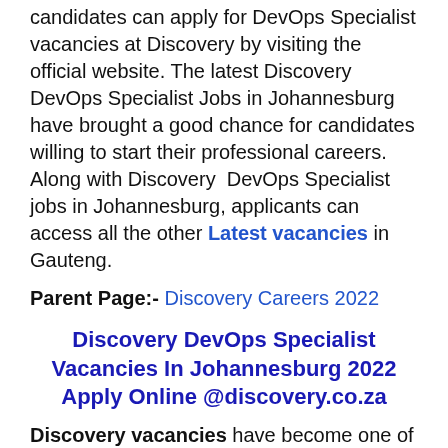candidates can apply for DevOps Specialist vacancies at Discovery by visiting the official website. The latest Discovery DevOps Specialist Jobs in Johannesburg have brought a good chance for candidates willing to start their professional careers. Along with Discovery  DevOps Specialist jobs in Johannesburg, applicants can access all the other Latest vacancies in Gauteng.
Parent Page:- Discovery Careers 2022
Discovery DevOps Specialist Vacancies In Johannesburg 2022 Apply Online @discovery.co.za
Discovery vacancies have become one of the leading and trending hubs for Jobs in